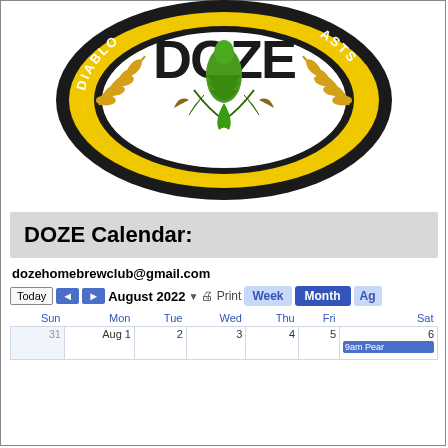[Figure (logo): DOZE homebrew club circular logo with black and yellow ring, wheat and hops illustration, text 'DIABLO' on left and 'ASTS' on right of ring]
DOZE Calendar:
dozehomebrewclub@gmail.com
[Figure (screenshot): Google Calendar screenshot showing August 2022 month view with navigation controls (Today, back/forward arrows, August 2022 dropdown, Print, Week, Month, Ag views). Calendar grid shows days Sun through Sat, with dates 31 (Jul), Aug 1-6 visible. Saturday 6 shows '9am Pear' event.]